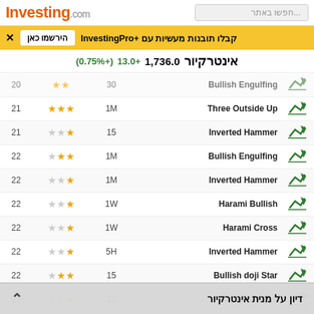Investing.com | חפשו באתר...
קבלו תובנות מעשיות עם InvestingPro+ | הירשמו כאן
אינטרקיור  1,736.0  +13.0 (+0.75%)
|  |  |  | Pattern |  |
| --- | --- | --- | --- | --- |
| 20 | ★★ | 30 | Bullish Engulfing | ↗ |
| 21 | ★★★ | 1M | Three Outside Up | ↗ |
| 21 | ☆☆★ | 15 | Inverted Hammer | ↗ |
| 22 | ☆★★ | 1M | Bullish Engulfing | ↗ |
| 22 | ☆☆★ | 1M | Inverted Hammer | ↗ |
| 22 | ☆☆★ | 1W | Harami Bullish | ↗ |
| 22 | ☆☆★ | 1W | Harami Cross | ↗ |
| 22 | ☆☆★ | 5H | Inverted Hammer | ↗ |
| 22 | ☆★★ | 15 | Bullish doji Star | ↗ |
| 22 | ☆☆★ | 15 | Harami Bullish | ↗ |
| 22 | ☆☆★ | 15 | Harami Cross | ↗ |
| 23 | ☆☆★ | 1M | Harami Cross | ↗ |
| 24 | ☆☆★ | 15 | Harami Bullish | ↗ |
| 24 | ☆☆★ |  |  |  |
דיון על מנית אינטרקיור